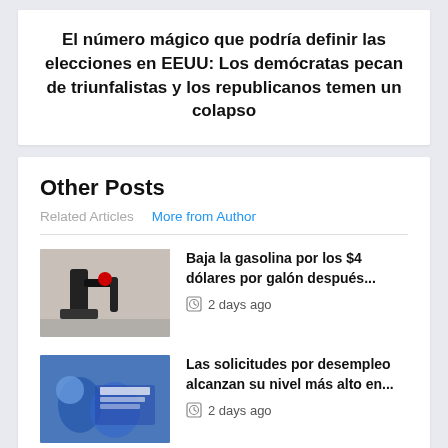El número mágico que podría definir las elecciones en EEUU: Los demócratas pecan de triunfalistas y los republicanos temen un colapso
Other Posts
Related Articles   More from Author
Baja la gasolina por los $4 dólares por galón después...  2 days ago
Las solicitudes por desempleo alcanzan su nivel más alto en...  2 days ago